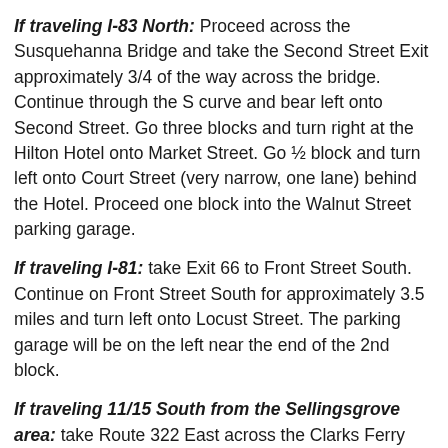If traveling I-83 North: Proceed across the Susquehanna Bridge and take the Second Street Exit approximately 3/4 of the way across the bridge. Continue through the S curve and bear left onto Second Street. Go three blocks and turn right at the Hilton Hotel onto Market Street. Go ½ block and turn left onto Court Street (very narrow, one lane) behind the Hotel. Proceed one block into the Walnut Street parking garage.
If traveling I-81: take Exit 66 to Front Street South. Continue on Front Street South for approximately 3.5 miles and turn left onto Locust Street. The parking garage will be on the left near the end of the 2nd block.
If traveling 11/15 South from the Sellingsgrove area: take Route 322 East across the Clarks Ferry Bridge. South of Dauphin, take the Linglestown Exit and turn right onto Linglestown Road (Route 39). Go toward the river and turn left onto Front Street traveling South. Continue on Front Street for approximately 3.5 miles and turn left onto Locust Street. The